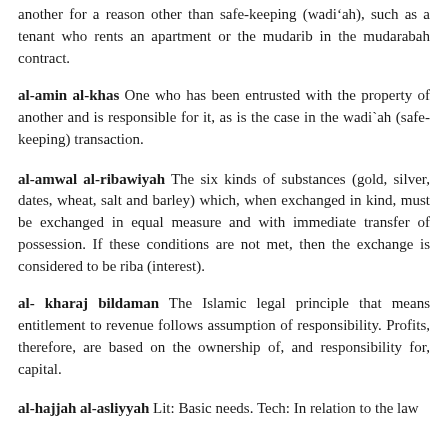another for a reason other than safe-keeping (wadi'ah), such as a tenant who rents an apartment or the mudarib in the mudarabah contract.
al-amin al-khas One who has been entrusted with the property of another and is responsible for it, as is the case in the wadi`ah (safe-keeping) transaction.
al-amwal al-ribawiyah The six kinds of substances (gold, silver, dates, wheat, salt and barley) which, when exchanged in kind, must be exchanged in equal measure and with immediate transfer of possession. If these conditions are not met, then the exchange is considered to be riba (interest).
al- kharaj bildaman The Islamic legal principle that means entitlement to revenue follows assumption of responsibility. Profits, therefore, are based on the ownership of, and responsibility for, capital.
al-hajjah al-asliyyah Lit: Basic needs. Tech: In relation to the law